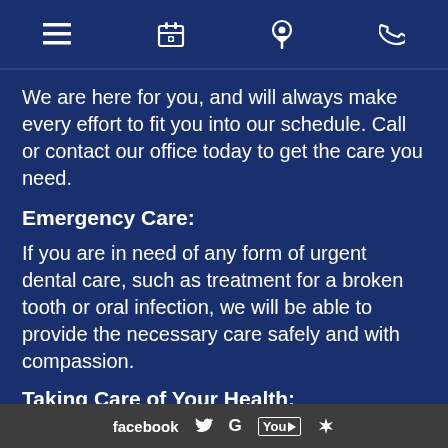[Navigation bar with hamburger menu, calendar/appointment icon, location pin icon, phone icon]
We are here for you, and will always make every effort to fit you into our schedule. Call or contact our office today to get the care you need.
Emergency Care:
If you are in need of any form of urgent dental care, such as treatment for a broken tooth or oral infection, we will be able to provide the necessary care safely and with compassion.
Taking Care of Your Health:
As always, our team is strictly adhering to the highest standards of sterilization and cleanliness
facebook  [Twitter]  G  YouTube  [Yelp]